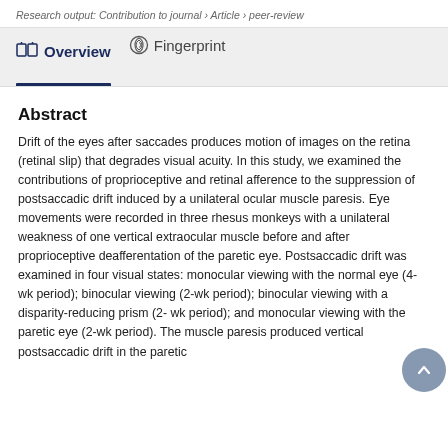Research output: Contribution to journal › Article › peer-review
Overview   Fingerprint
Abstract
Drift of the eyes after saccades produces motion of images on the retina (retinal slip) that degrades visual acuity. In this study, we examined the contributions of proprioceptive and retinal afference to the suppression of postsaccadic drift induced by a unilateral ocular muscle paresis. Eye movements were recorded in three rhesus monkeys with a unilateral weakness of one vertical extraocular muscle before and after proprioceptive deafferentation of the paretic eye. Postsaccadic drift was examined in four visual states: monocular viewing with the normal eye (4-wk period); binocular viewing (2-wk period); binocular viewing with a disparity-reducing prism (2- wk period); and monocular viewing with the paretic eye (2-wk period). The muscle paresis produced vertical postsaccadic drift in the paretic